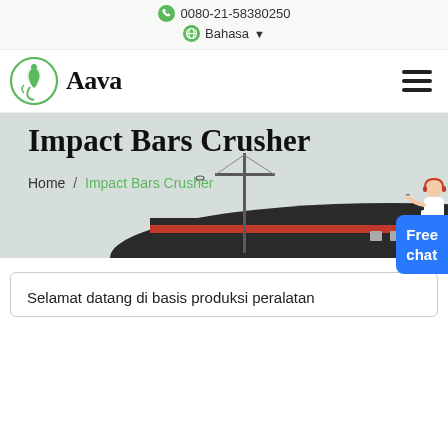0080-21-58380250
Bahasa
[Figure (logo): Aava brand logo with green leaf circle icon and bold serif Aava text]
Impact Bars Crusher
Home / Impact Bars Crusher
[Figure (photo): Photo of industrial building with antenna/tower in foreground, dark arched roof structure with red stripe, overcast sky]
Selamat datang di basis produksi peralatan